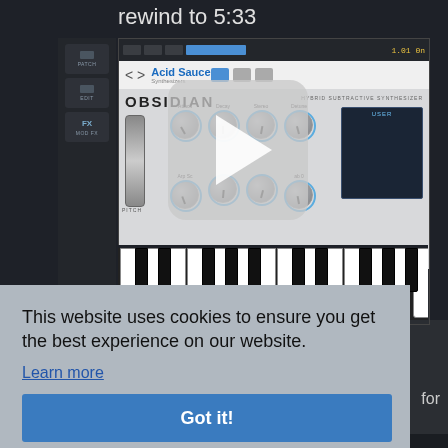rewind to 5:33
[Figure (screenshot): Screenshot of a DAW (Digital Audio Workstation) application showing the Obsidian hybrid subtractive synthesizer plugin with 'Acid Sauce' preset loaded, featuring knobs for Attack, Decay, Stereo, Detune, and a pitch slider, with a piano keyboard at the bottom. A semi-transparent play button overlay is visible in the center.]
This website uses cookies to ensure you get the best experience on our website.
Learn more
Got it!
for
r